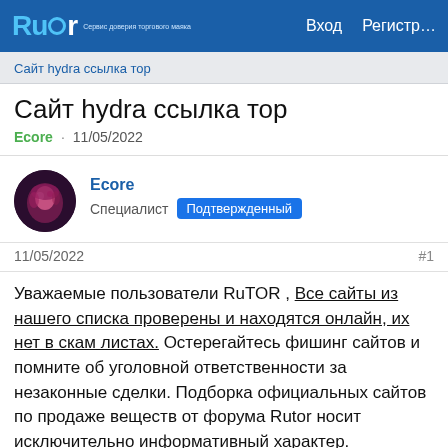Rutor  Вход  Регистр…
Сайт hydra ссылка тор
Сайт hydra ссылка тор
Ecore · 11/05/2022
[Figure (photo): User avatar – dark purple abstract image for user Ecore]
Ecore
Специалист Подтвержденный
11/05/2022   #1
Уважаемые пользователи RuTOR , Все сайты из нашего списка проверены и находятся онлайн, их нет в скам листах. Остерегайтесь фишинг сайтов и помните об уголовной ответственности за незаконные сделки. Подборка официальных сайтов по продаже веществ от форума Rutor носит исключительно информативный характер.